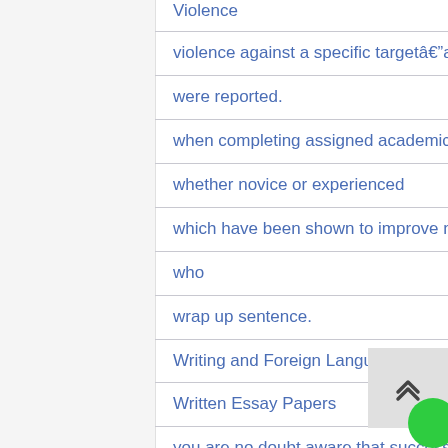Violence
violence against a specific targetâ€”a
were reported.
when completing assigned academic work.
whether novice or experienced
which have been shown to improve motivation
who
wrap up sentence.
Writing and Foreign Languages
Written Essay Papers
you are no doubt aware that success in the healthcare field requires the ability to adapt to change